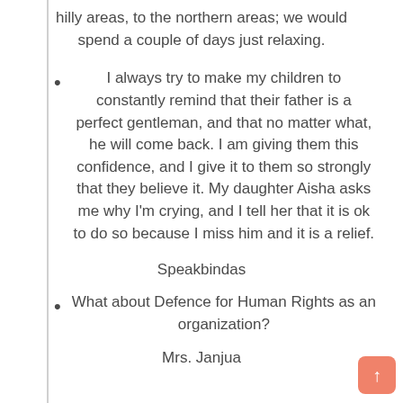hilly areas, to the northern areas; we would spend a couple of days just relaxing.
I always try to make my children to constantly remind that their father is a perfect gentleman, and that no matter what, he will come back. I am giving them this confidence, and I give it to them so strongly that they believe it. My daughter Aisha asks me why I'm crying, and I tell her that it is ok to do so because I miss him and it is a relief.
Speakbindas
What about Defence for Human Rights as an organization?
Mrs. Janjua